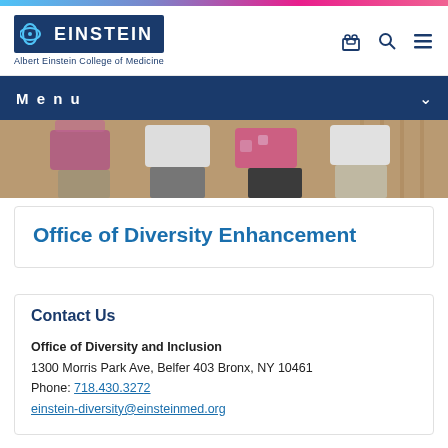Albert Einstein College of Medicine — site header with logo and navigation icons
Menu
[Figure (photo): Hero image showing group of people standing, cropped at torso level, wearing colorful clothing]
Office of Diversity Enhancement
Contact Us
Office of Diversity and Inclusion
1300 Morris Park Ave, Belfer 403 Bronx, NY 10461
Phone: 718.430.3272
einstein-diversity@einsteinmed.org